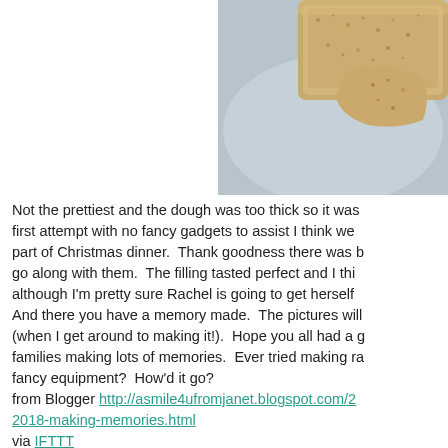[Figure (photo): Close-up photograph of homemade ravioli or pasta dough on a plate, showing thick dough with breadcrumb or sugar topping, on a light blue/grey plate background.]
Not the prettiest and the dough was too thick so it was a first attempt with no fancy gadgets to assist I think we part of Christmas dinner.  Thank goodness there was b go along with them.  The filling tasted perfect and I thi although I'm pretty sure Rachel is going to get herself And there you have a memory made.  The pictures will (when I get around to making it!).  Hope you all had a g families making lots of memories.  Ever tired making ra fancy equipment?  How'd it go?
from Blogger http://asmile4ufromjanet.blogspot.com/2018-making-memories.html
via IFTTT